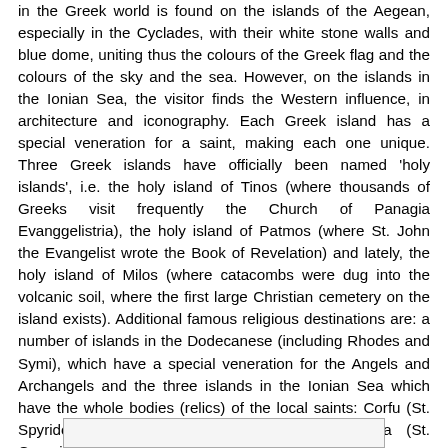in the Greek world is found on the islands of the Aegean, especially in the Cyclades, with their white stone walls and blue dome, uniting thus the colours of the Greek flag and the colours of the sky and the sea. However, on the islands in the Ionian Sea, the visitor finds the Western influence, in architecture and iconography. Each Greek island has a special veneration for a saint, making each one unique. Three Greek islands have officially been named 'holy islands', i.e. the holy island of Tinos (where thousands of Greeks visit frequently the Church of Panagia Evanggelistria), the holy island of Patmos (where St. John the Evangelist wrote the Book of Revelation) and lately, the holy island of Milos (where catacombs were dug into the volcanic soil, where the first large Christian cemetery on the island exists). Additional famous religious destinations are: a number of islands in the Dodecanese (including Rhodes and Symi), which have a special veneration for the Angels and Archangels and the three islands in the Ionian Sea which have the whole bodies (relics) of the local saints: Corfu (St. Spyridon), Zante (St Dionysius) and Cephalonia (St. Gerasimos).